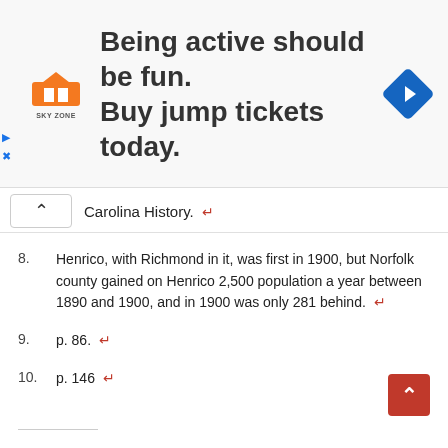[Figure (other): Advertisement banner for Sky Zone: 'Being active should be fun. Buy jump tickets today.' with Sky Zone logo and navigation icon]
Carolina History. ↩
8. Henrico, with Richmond in it, was first in 1900, but Norfolk county gained on Henrico 2,500 population a year between 1890 and 1900, and in 1900 was only 281 behind. ↩
9. p. 86. ↩
10. p. 146 ↩